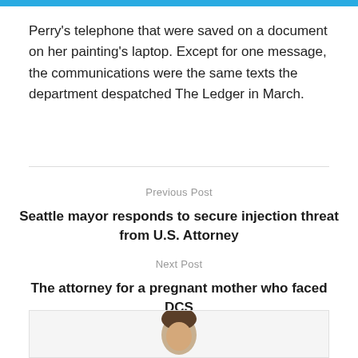Perry's telephone that were saved on a document on her painting's laptop. Except for one message, the communications were the same texts the department despatched The Ledger in March.
Previous Post
Seattle mayor responds to secure injection threat from U.S. Attorney
Next Post
The attorney for a pregnant mother who faced DCS
[Figure (photo): Partial view of a person's head/face at the bottom of the page]